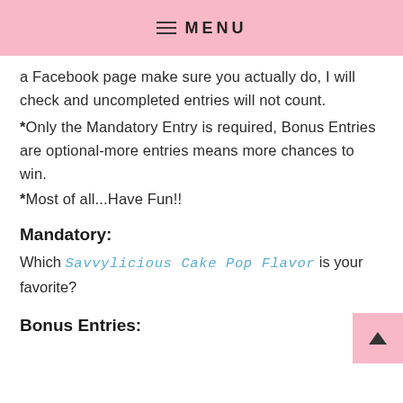MENU
a Facebook page make sure you actually do, I will check and uncompleted entries will not count.
*Only the Mandatory Entry is required, Bonus Entries are optional-more entries means more chances to win.
*Most of all...Have Fun!!
Mandatory:
Which Savvylicious Cake Pop Flavor is your favorite?
Bonus Entries: